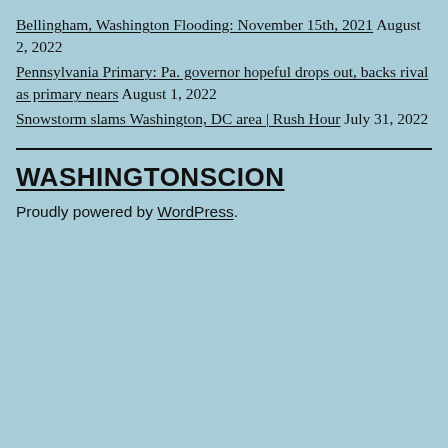Bellingham, Washington Flooding: November 15th, 2021 August 2, 2022
Pennsylvania Primary: Pa. governor hopeful drops out, backs rival as primary nears August 1, 2022
Snowstorm slams Washington, DC area | Rush Hour July 31, 2022
WASHINGTONSCION
Proudly powered by WordPress.